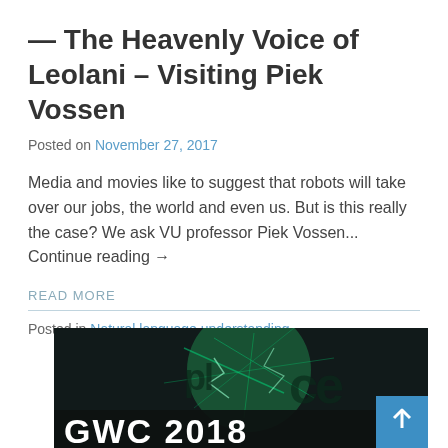— The Heavenly Voice of Leolani – Visiting Piek Vossen
Posted on November 27, 2017
Media and movies like to suggest that robots will take over our jobs, the world and even us. But is this really the case? We ask VU professor Piek Vossen... Continue reading →
READ MORE
Posted in Natural language understanding
[Figure (photo): GWC 2018 event image with dark green background showing circuit-like patterns and the text 'GWC 2018' in large white letters at the bottom]